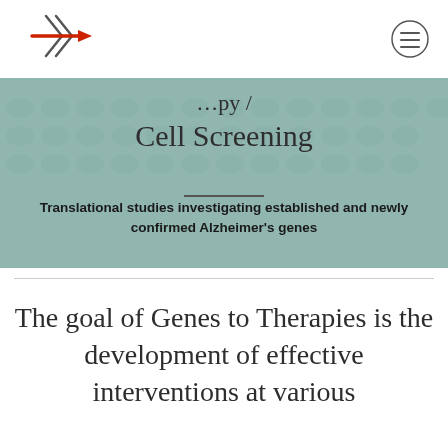Cell Screening
Translational studies investigating established and newly confirmed Alzheimer's genes
The goal of Genes to Therapies is the development of effective interventions at various